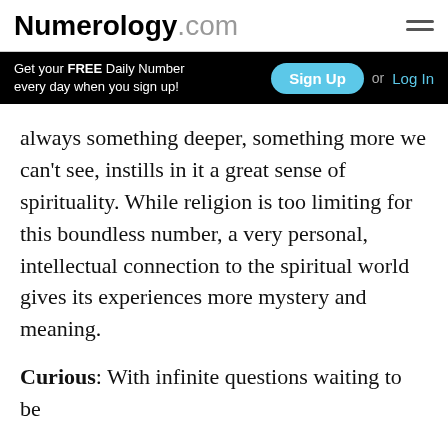Numerology.com
Get your FREE Daily Number every day when you sign up! Sign Up or Log In
always something deeper, something more we can't see, instills in it a great sense of spirituality. While religion is too limiting for this boundless number, a very personal, intellectual connection to the spiritual world gives its experiences more mystery and meaning.
Curious: With infinite questions waiting to be